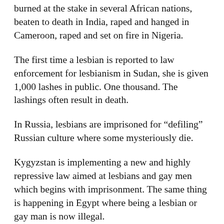burned at the stake in several African nations, beaten to death in India, raped and hanged in Cameroon, raped and set on fire in Nigeria.
The first time a lesbian is reported to law enforcement for lesbianism in Sudan, she is given 1,000 lashes in public. One thousand. The lashings often result in death.
In Russia, lesbians are imprisoned for “defiling” Russian culture where some mysteriously die.
Kygyzstan is implementing a new and highly repressive law aimed at lesbians and gay men which begins with imprisonment. The same thing is happening in Egypt where being a lesbian or gay man is now illegal.
All this violent erasure yet lesbians do not make the